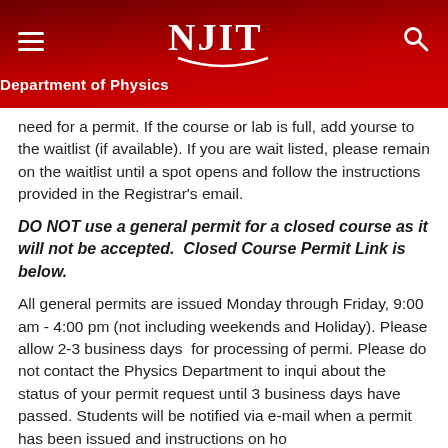NJIT Department of Physics
need for a permit. If the course or lab is full, add yourself to the waitlist (if available). If you are wait listed, please remain on the waitlist until a spot opens and follow the instructions provided in the Registrar's email.
DO NOT use a general permit for a closed course as it will not be accepted.  Closed Course Permit Link is below.
All general permits are issued Monday through Friday, 9:00 am - 4:00 pm (not including weekends and Holidays). Please allow 2-3 business days  for processing of permits. Please do not contact the Physics Department to inquire about the status of your permit request until 3 business days have passed. Students will be notified via e-mail when a permit has been issued and instructions on ho